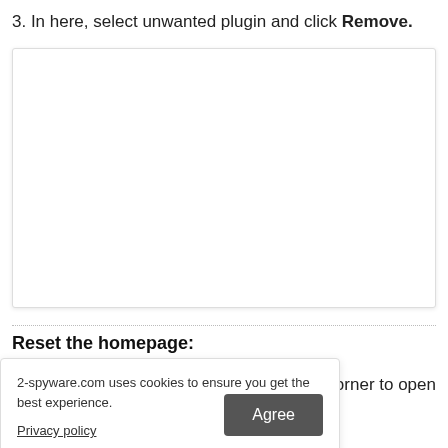3. In here, select unwanted plugin and click Remove.
[Figure (screenshot): Screenshot placeholder showing a white box with light border and shadow, representing a browser plugin management interface screenshot.]
Reset the homepage:
2-spyware.com uses cookies to ensure you get the best experience.
corner to open
Privacy policy
Agree